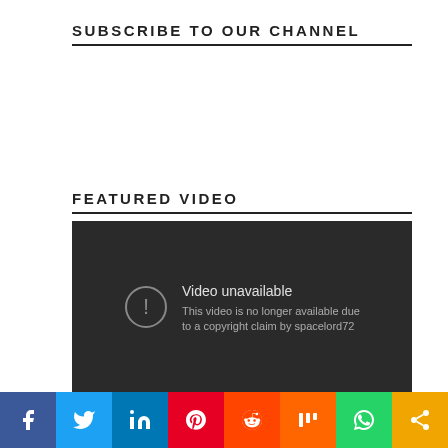SUBSCRIBE TO OUR CHANNEL
FEATURED VIDEO
[Figure (screenshot): YouTube video unavailable error: 'Video unavailable — This video is no longer available due to a copyright claim by spacelord72']
[Figure (infographic): Social media share bar with icons: Facebook, Twitter, LinkedIn, Pinterest, Reddit, Mix, WhatsApp, Share]